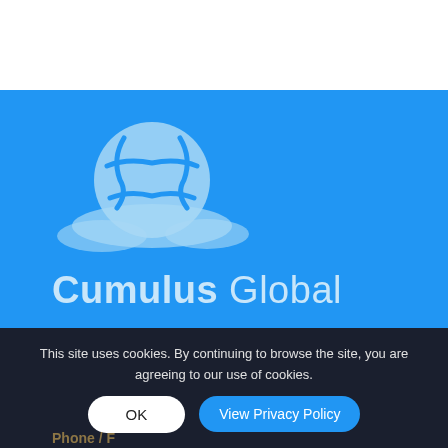[Figure (logo): Cumulus Global logo: a globe with puzzle piece lines and clouds beneath it, rendered in light blue on a bright blue background, with the text 'Cumulus Global' below.]
This site uses cookies. By continuing to browse the site, you are agreeing to our use of cookies.
OK
View Privacy Policy
Phone / F